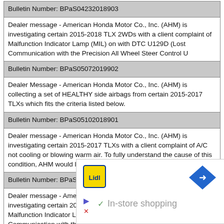| Bulletin Number: BPaS04232018903 |
| Dealer message - American Honda Motor Co., Inc. (AHM) is investigating certain 2015-2018 TLX 2WDs with a client complaint of Malfunction Indicator Lamp (MIL) on with DTC U129D (Lost Communication with the Precision All Wheel Steer Control U |
| Bulletin Number: BPaS05072019902 |
| Dealer Message - American Honda Motor Co., Inc. (AHM) is collecting a set of HEALTHY side airbags from certain 2015-2017 TLXs which fits the criteria listed below. |
| Bulletin Number: BPaS05102018901 |
| Dealer message - American Honda Motor Co., Inc. (AHM) is investigating certain 2015-2017 TLXs with a client complaint of A/C not cooling or blowing warm air. To fully understand the cause of this condition, AHM would like to collect specifi |
| Bulletin Number: BPaS05102018903 |
| Dealer message - American Honda Motor Co., Inc. (AHM) is investigating certain 2015-2018 TLX 2WDs with a client complaint of Malfunction Indicator Lamp (MIL) on with DTC U129D (Lost Communication with the Precision All Wheel Steer |
[Figure (infographic): Advertisement banner showing Lidl logo and navigation/maps icon with 'In-store shopping' text]